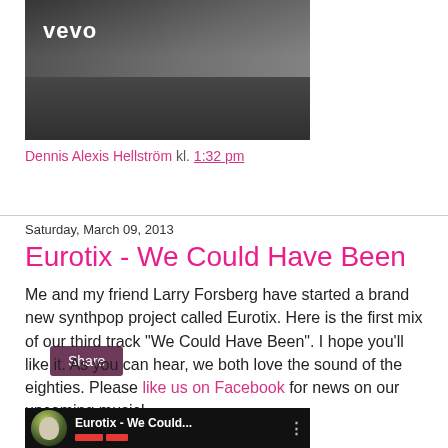[Figure (screenshot): Vevo video thumbnail showing dark background with blonde person, Vevo logo in white at top left]
Dennis Alexis Hellström kl. 1:32 pm
Share
Saturday, March 09, 2013
Eurotix - We Could Have Been
Me and my friend Larry Forsberg have started a brand new synthpop project called Eurotix. Here is the first mix of our third track "We Could Have Been". I hope you'll like it. As you can hear, we both love the sound of the eighties. Please like us on Facebook for news on our upcoming music!
[Figure (screenshot): YouTube video thumbnail showing Eurotix - We Could... with avatar and playback controls]